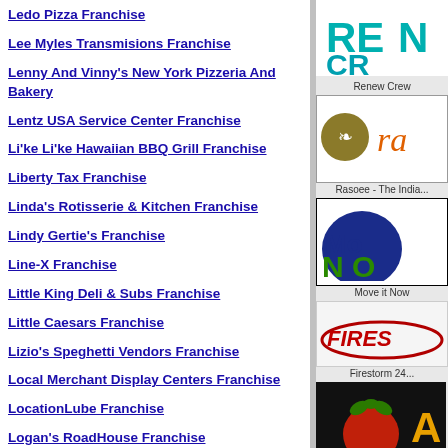Ledo Pizza Franchise
Lee Myles Transmisions Franchise
Lenny And Vinny's New York Pizzeria And Bakery
Lentz USA Service Center Franchise
Li'ke Li'ke Hawaiian BBQ Grill Franchise
Liberty Tax Franchise
Linda's Rotisserie & Kitchen Franchise
Lindy Gertie's Franchise
Line-X Franchise
Little King Deli & Subs Franchise
Little Caesars Franchise
Lizio's Speghetti Vendors Franchise
Local Merchant Display Centers Franchise
LocationLube Franchise
Logan's RoadHouse Franchise
Longbranch SteakHouse & Saloon
[Figure (logo): Renew Crew logo - partial, teal/blue text on white]
Renew Crew
[Figure (logo): Rasoee - The Indian Kitchen logo with orange circle and ra text]
Rasoee - The India...
[Figure (logo): Move it Now logo - blue circle with green text]
Move it Now
[Figure (logo): Firestorm 24 logo - red swoosh text]
Firestorm 24...
[Figure (logo): Amatos Italian Restaurant logo - tomato on black background]
Amatos Italian Res...
[Figure (logo): My Favorite Muffin logo - partial view]